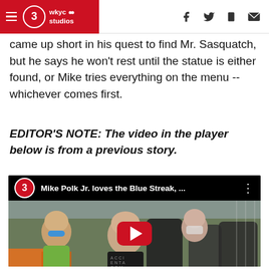wkyc studios — header with navigation icons
came up short in his quest to find Mr. Sasquatch, but he says he won't rest until the statue is either found, or Mike tries everything on the menu -- whichever comes first.
EDITOR'S NOTE: The video in the player below is from a previous story.
[Figure (screenshot): Embedded YouTube video player showing 'Mike Polk Jr. loves the Blue Streak, ...' with people riding a roller coaster. YouTube play button visible in center.]